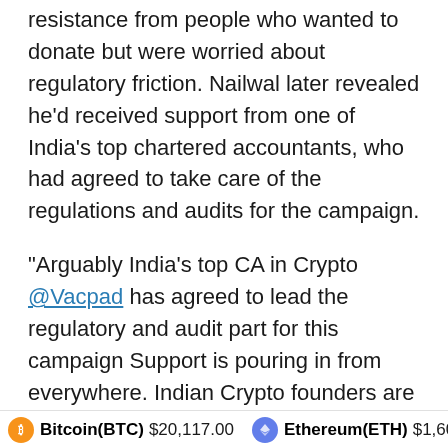resistance from people who wanted to donate but were worried about regulatory friction. Nailwal later revealed he'd received support from one of India's top chartered accountants, who had agreed to take care of the regulations and audits for the campaign.
“Arguably India’s top CA in Crypto @Vacpad has agreed to lead the regulatory and audit part for this campaign Support is pouring in from everywhere. Indian Crypto founders are personally reaching out to help. Next step is to deploy the funds on the group. Ppl need help RIGHT NOW,” tweeted Nailwal.
The second wave of COVID-19 in India is expected to peak in the third week of May. The Indian government recently removed all customs duty from essential relief materials,
Bitcoin(BTC) $20,117.00   Ethereum(ETH) $1,608.20   XRP